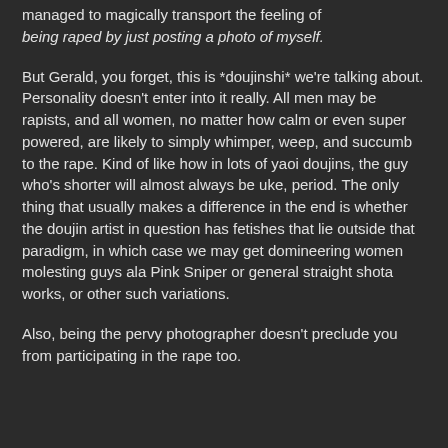managed to magically transport the feeling of being raped by just posting a photo of myself.
But Gerald, you forget, this is *doujinshi* we're talking about. Personality doesn't enter into it really. All men may be rapists, and all women, no matter how calm or even super powered, are likely to simply whimper, weep, and succumb to the rape. Kind of like how in lots of yaoi doujins, the guy who's shorter will almost always be uke, period. The only thing that usually makes a difference in the end is whether the doujin artist in question has fetishes that lie outside that paradigm, in which case we may get domineering women molesting guys ala Pink Sniper or general straight shota works, or other such variations.
Also, being the pervy photographer doesn't preclude you from participating in the rape too.